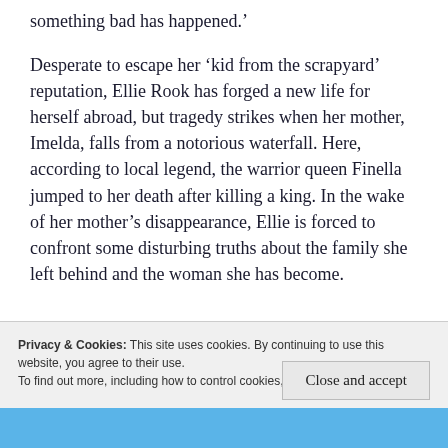something bad has happened.'
Desperate to escape her 'kid from the scrapyard' reputation, Ellie Rook has forged a new life for herself abroad, but tragedy strikes when her mother, Imelda, falls from a notorious waterfall. Here, according to local legend, the warrior queen Finella jumped to her death after killing a king. In the wake of her mother's disappearance, Ellie is forced to confront some disturbing truths about the family she left behind and the woman she has become.
Privacy & Cookies: This site uses cookies. By continuing to use this website, you agree to their use.
To find out more, including how to control cookies, see here: Cookie Policy